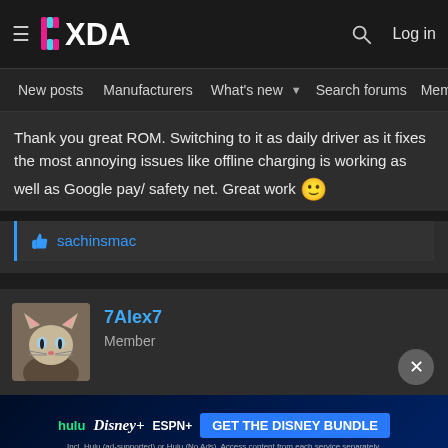XDA Developers forum header with navigation: New posts, Manufacturers, What's new, Search forums, Members
Thank you great ROM. Switching to it as daily driver as it fixes the most annoying issues like offline charging is working as well as Google pay/safety net. Great work 🙂
sachinsmac (liked)
7Alex7
Member
[Figure (screenshot): Disney Bundle advertisement banner showing Hulu, Disney+, ESPN+ logos with GET THE DISNEY BUNDLE call to action button]
Nice rome thanks but smart charging not working